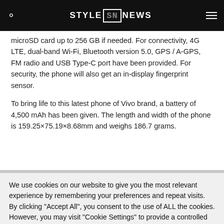STYLE SN NEWS
microSD card up to 256 GB if needed. For connectivity, 4G LTE, dual-band Wi-Fi, Bluetooth version 5.0, GPS / A-GPS, FM radio and USB Type-C port have been provided. For security, the phone will also get an in-display fingerprint sensor.
To bring life to this latest phone of Vivo brand, a battery of 4,500 mAh has been given. The length and width of the phone is 159.25×75.19×8.68mm and weighs 186.7 grams.
We use cookies on our website to give you the most relevant experience by remembering your preferences and repeat visits. By clicking "Accept All", you consent to the use of ALL the cookies. However, you may visit "Cookie Settings" to provide a controlled consent.